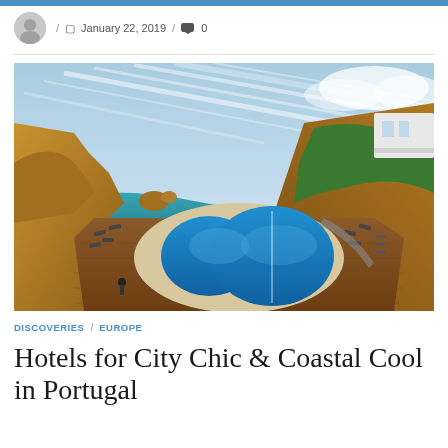/ January 22, 2019 / 0
[Figure (photo): Aerial view of a luxury hotel pool deck with two circular pools arranged in a figure-8 shape, surrounded by lounge chairs on a wooden deck, overlooking dramatic golden cliffs and turquoise ocean water in the Algarve, Portugal.]
DISCOVERIES / EUROPE
Hotels for City Chic & Coastal Cool in Portugal